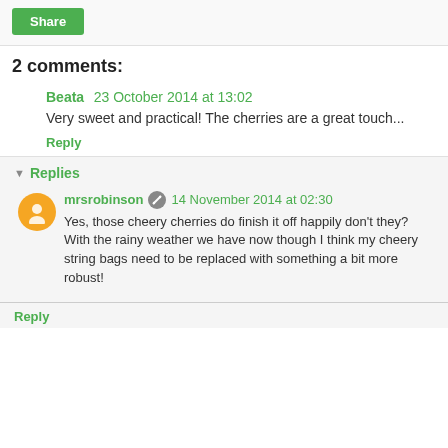Share
2 comments:
Beata 23 October 2014 at 13:02
Very sweet and practical! The cherries are a great touch...
Reply
Replies
mrsrobinson 14 November 2014 at 02:30
Yes, those cheery cherries do finish it off happily don't they? With the rainy weather we have now though I think my cheery string bags need to be replaced with something a bit more robust!
Reply